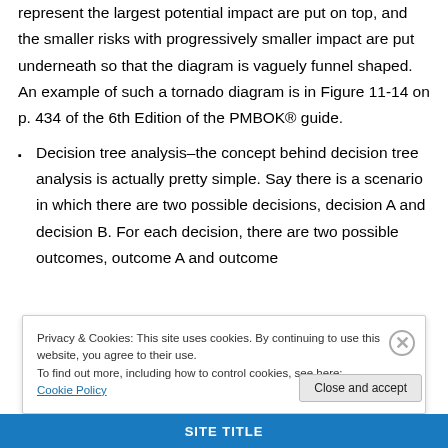represent the largest potential impact are put on top, and the smaller risks with progressively smaller impact are put underneath so that the diagram is vaguely funnel shaped.  An example of such a tornado diagram is in Figure 11-14 on p. 434 of the 6th Edition of the PMBOK® guide.
Decision tree analysis–the concept behind decision tree analysis is actually pretty simple.   Say there is a scenario in which there are two possible decisions, decision A and decision B.    For each decision, there are two possible outcomes, outcome A and outcome
Privacy & Cookies: This site uses cookies. By continuing to use this website, you agree to their use.
To find out more, including how to control cookies, see here: Cookie Policy
Close and accept